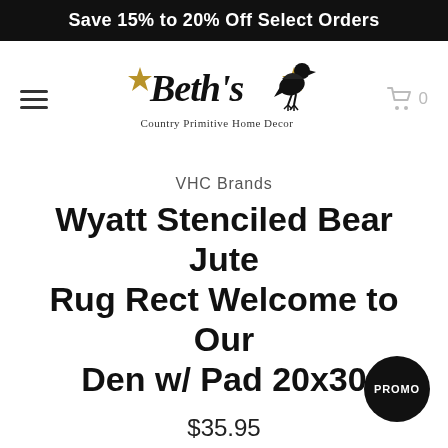Save 15% to 20% Off Select Orders
[Figure (logo): Beth's Country Primitive Home Decor logo with crow and stars]
VHC Brands
Wyatt Stenciled Bear Jute Rug Rect Welcome to Our Den w/ Pad 20x30
$35.95